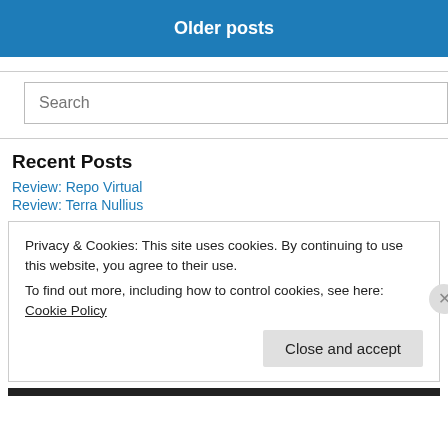Older posts
Search
Recent Posts
Review: Repo Virtual
Review: Terra Nullius
Privacy & Cookies: This site uses cookies. By continuing to use this website, you agree to their use.
To find out more, including how to control cookies, see here: Cookie Policy
Close and accept